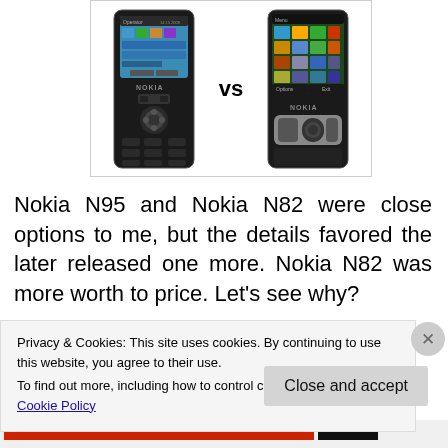[Figure (photo): Two Nokia phones side by side with 'vs' text between them — Nokia N95 on the left and Nokia N82 on the right, both black devices showing their screens and keypads]
Nokia N95 and Nokia N82 were close options to me, but the details favored the later released one more. Nokia N82 was more worth to price. Let's see why?
Privacy & Cookies: This site uses cookies. By continuing to use this website, you agree to their use.
To find out more, including how to control cookies, see here: Cookie Policy